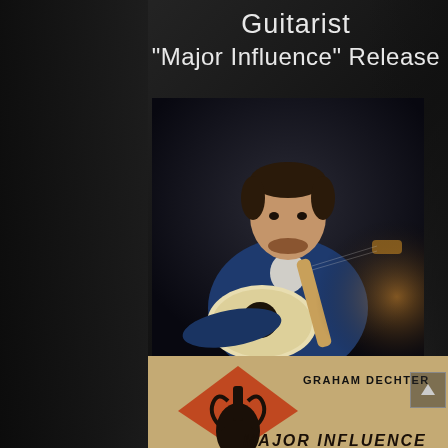Guitarist
"Major Influence" Release
[Figure (photo): Man in blue suit jacket playing an archtop/jazz guitar, seated, smiling, dark background with warm lighting]
[Figure (photo): Album cover art for 'Major Influence' by Graham Dechter - tan/beige background with an orange diamond shape, black stylized hand/guitar graphic, text GRAHAM DECHTER at top, MAJOR INFLUENCE at bottom]